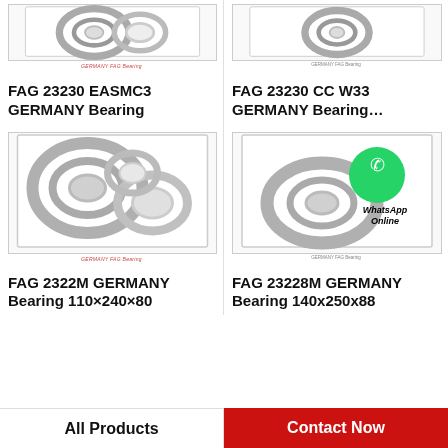[Figure (photo): FAG 23230 EASMC3 bearing product photo with GERMANY FAG Bearing label]
[Figure (photo): FAG 23230 CC W33 bearing product photo with GERMANY FAG Bearing label]
FAG 23230 EASMC3 GERMANY Bearing
FAG 23230 CC W33 GERMANY Bearing…
[Figure (photo): FAG 2322M bearing product photo with GERMANY FAG Bearing label]
[Figure (photo): FAG 23228M bearing product photo with WhatsApp Online overlay and GERMANY FAG Bearing label]
FAG 2322M GERMANY Bearing 110×240×80
FAG 23228M GERMANY Bearing 140x250x88
All Products
Contact Now